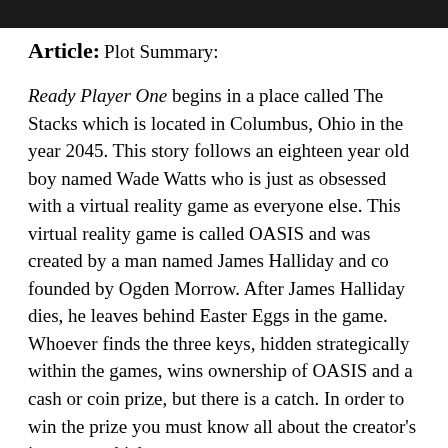Article:
Plot Summary:
Ready Player One begins in a place called The Stacks which is located in Columbus, Ohio in the year 2045. This story follows an eighteen year old boy named Wade Watts who is just as obsessed with a virtual reality game as everyone else. This virtual reality game is called OASIS and was created by a man named James Halliday and co founded by Ogden Morrow. After James Halliday dies, he leaves behind Easter Eggs in the game. Whoever finds the three keys, hidden strategically within the games, wins ownership of OASIS and a cash or coin prize, but there is a catch. In order to win the prize you must know all about the creator's interests, which